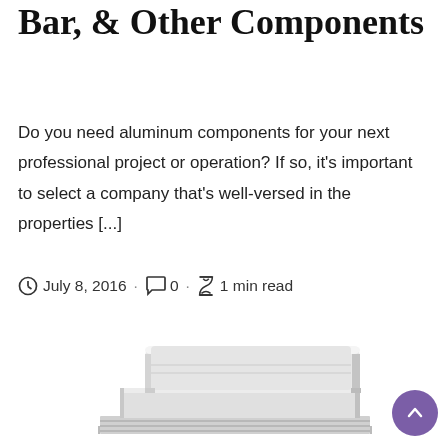Bar, & Other Components
Do you need aluminum components for your next professional project or operation? If so, it's important to select a company that's well-versed in the properties [...]
July 8, 2016 · 0 · 1 min read
[Figure (photo): Stacked aluminum bar/extrusion components shown in grayscale, viewed from an angle revealing layered profile shapes.]